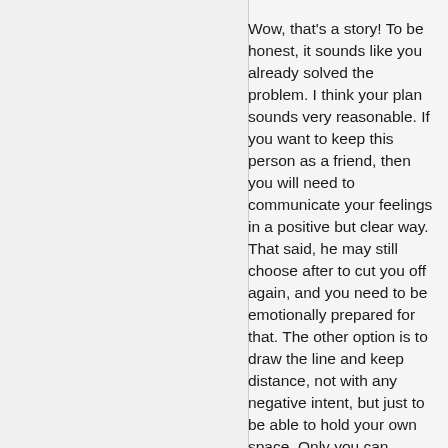Wow, that's a story! To be honest, it sounds like you already solved the problem. I think your plan sounds very reasonable. If you want to keep this person as a friend, then you will need to communicate your feelings in a positive but clear way. That said, he may still choose after to cut you off again, and you need to be emotionally prepared for that. The other option is to draw the line and keep distance, not with any negative intent, but just to be able to hold your own space. Only you can decide what is best for you, but you will never be able to control someone else's reactions or